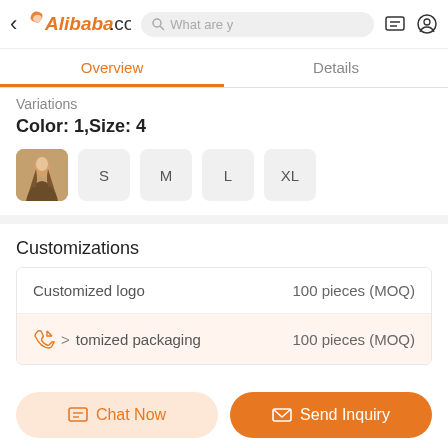Alibaba.com — What are you looking for?
Overview | Details
Variations
Color: 1,Size: 4
[Figure (other): Product color swatch (thumbnail of a woman wearing a brown/khaki jacket) followed by size buttons: S, M, L, XL]
Customizations
| Customization | MOQ |
| --- | --- |
| Customized logo | 100 pieces (MOQ) |
| tomized packaging | 100 pieces (MOQ) |
Chat Now | Send Inquiry